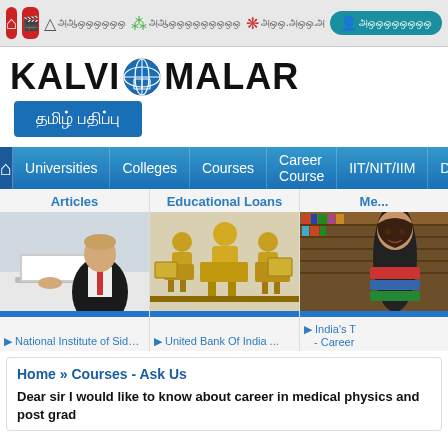[Figure (screenshot): Top navigation bar with icons for home, cinema, and Tamil language sections, teal highlighted tab, and iPaper red button]
KALVI MALAR
[Figure (screenshot): Tamil language button with text in Tamil script on blue background]
[Figure (screenshot): Blue navigation bar with links: Universities, Colleges, Courses, Career Course, IIT/NIT/IIM, Di...]
Articles
Educational Loans
Me...
[Figure (photo): Business man in suit working on laptop computer]
[Figure (photo): Three golden figurines sitting at desks with laptops, representing educational loans]
[Figure (photo): Young woman in library holding books, partially visible]
National Institute of Siddha ..
United Bank Of India ...
India's T - Career
Home » Courses - Ask Us
Dear sir I would like to know about career in medical physics and post grad...